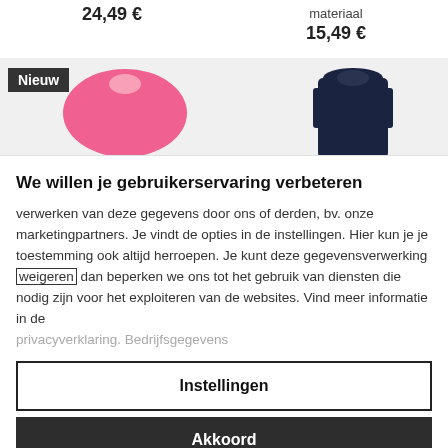24,49 €
materiaal
15,49 €
[Figure (photo): E-commerce product listing showing a pink shirt on the left with a 'Nieuw' badge, and a dark navy tank top on the right, against a light grey background.]
We willen je gebruikerservaring verbeteren
verwerken van deze gegevens door ons of derden, bv. onze marketingpartners. Je vindt de opties in de instellingen. Hier kun je je toestemming ook altijd herroepen. Je kunt deze gegevensverwerking weigeren dan beperken we ons tot het gebruik van diensten die nodig zijn voor het exploiteren van de websites. Vind meer informatie in de privacyverklaring. Bedrijfsgegevens
Instellingen
Akkoord